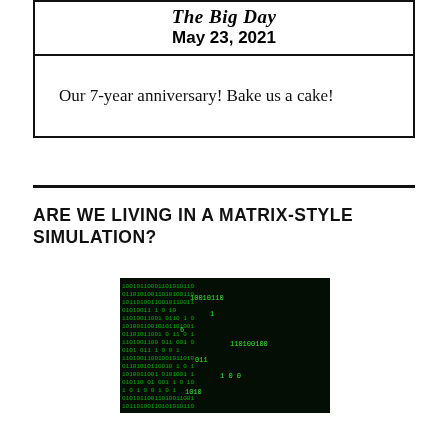The Big Day
May 23, 2021
Our 7-year anniversary! Bake us a cake!
ARE WE LIVING IN A MATRIX-STYLE SIMULATION?
[Figure (photo): Dark background with cascading green binary code numbers, reminiscent of the Matrix movie digital rain effect.]